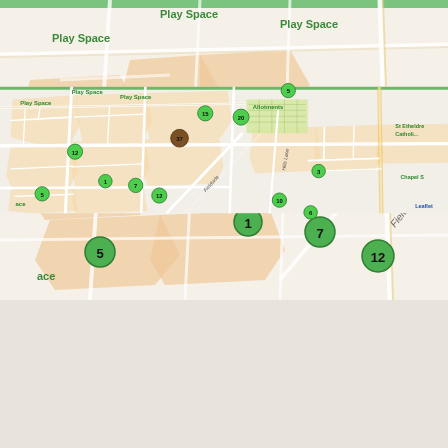[Figure (map): Interactive Leaflet map showing a residential area with street names (Fieldside, Hills Lane, Chapel S...), labeled areas (Play Space, Allotments, St Etheldre Catholic), and numbered green and brown circular cluster markers. Green markers show: 5, 1, 7, 12, 12, 3, 10, 15, 20, 3. Brown marker shows: 37. Top-right shows a green marker partially visible. 'Leaflet' attribution in bottom right.]